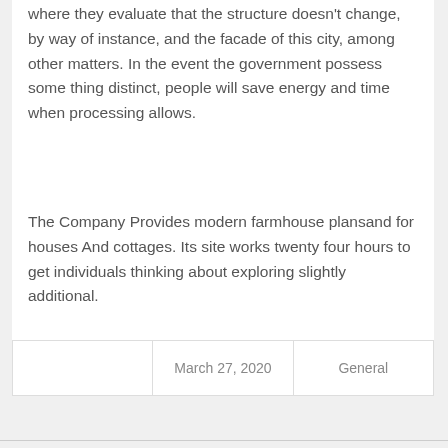where they evaluate that the structure doesn't change, by way of instance, and the facade of this city, among other matters. In the event the government possess some thing distinct, people will save energy and time when processing allows.
The Company Provides modern farmhouse plansand for houses And cottages. Its site works twenty four hours to get individuals thinking about exploring slightly additional.
March 27, 2020 | General